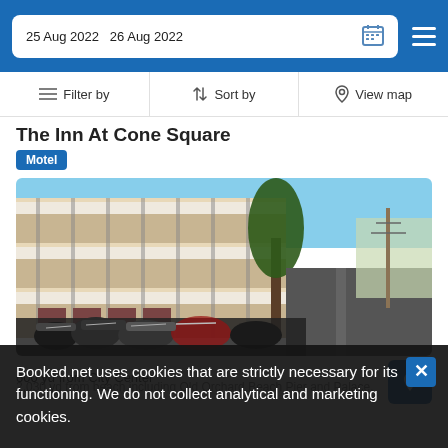25 Aug 2022  26 Aug 2022
Filter by  Sort by  View map
The Inn At Cone Square
Motel
[Figure (photo): Exterior photo of The Inn At Cone Square motel showing a multi-story building with white railings and balconies, motorcycles parked in front, and a street view with utility poles and trees.]
600 yd from City Center
Booked.net uses cookies that are strictly necessary for its functioning. We do not collect analytical and marketing cookies.